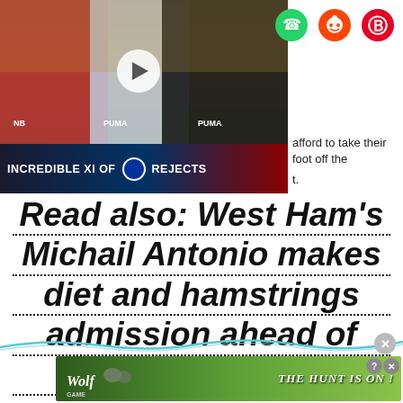[Figure (screenshot): Video thumbnail showing three football players with Chelsea FC Incredible XI of Rejects banner, and social sharing icons (WhatsApp, Reddit, Pinterest)]
afford to take their foot off the
t.
Read also: West Ham's Michail Antonio makes diet and hamstrings admission ahead of Leicester clash
[Figure (screenshot): Wolf Game advertisement banner reading THE HUNT IS ON!]